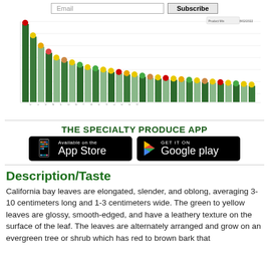[Figure (other): Email subscription bar with input field and Subscribe button]
[Figure (bar-chart): Descending bar chart with produce items on x-axis and counts on y-axis, bars in various shades of green with produce icons on top]
THE SPECIALTY PRODUCE APP
[Figure (infographic): App Store and Google Play download buttons side by side on black backgrounds]
Description/Taste
California bay leaves are elongated, slender, and oblong, averaging 3-10 centimeters long and 1-3 centimeters wide. The green to yellow leaves are glossy, smooth-edged, and have a leathery texture on the surface of the leaf. The leaves are alternately arranged and grow on an evergreen tree or shrub which has red to brown bark that